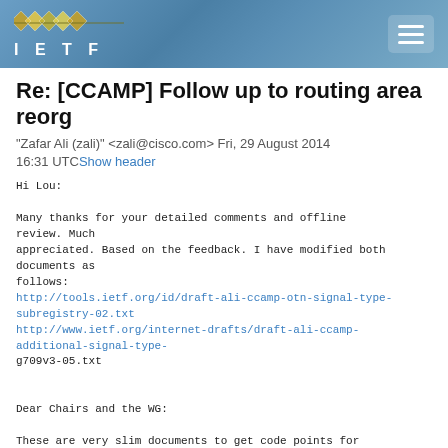IETF
Re: [CCAMP] Follow up to routing area reorg
"Zafar Ali (zali)" <zali@cisco.com> Fri, 29 August 2014 16:31 UTC Show header
Hi Lou:

Many thanks for your detailed comments and offline review. Much
appreciated. Based on the feedback. I have modified both documents as
follows:
http://tools.ietf.org/id/draft-ali-ccamp-otn-signal-type-subregistry-02.txt
http://www.ietf.org/internet-drafts/draft-ali-ccamp-additional-signal-type-
g709v3-05.txt


Dear Chairs and the WG:

These are very slim documents to get code points for ODU1e, ODU3e1, and